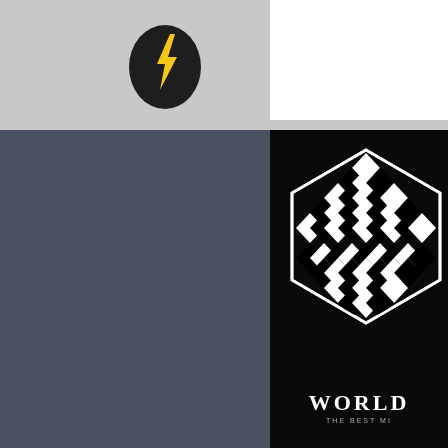[Figure (screenshot): Screenshot of an application interface showing a dark sidebar with a lightning bolt egg icon in the top bar, a white panel area, and a black main content area displaying a geometric hexagonal cube logo made of repeating diamond/chevron patterns in black and white, with text 'WORLD' and 'THE BEST MI' visible at the bottom]
WORLD
THE BEST MI